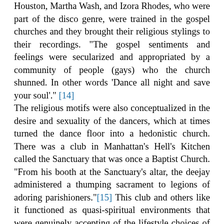Houston, Martha Wash, and Izora Rhodes, who were part of the disco genre, were trained in the gospel churches and they brought their religious stylings to their recordings. "The gospel sentiments and feelings were secularized and appropriated by a community of people (gays) who the church shunned. In other words 'Dance all night and save your soul'." [14] The religious motifs were also conceptualized in the desire and sexuality of the dancers, which at times turned the dance floor into a hedonistic church. There was a club in Manhattan's Hell's Kitchen called the Sanctuary that was once a Baptist Church. "From his booth at the Sanctuary's altar, the deejay administered a thumping sacrament to legions of adoring parishioners."[15] This club and others like it functioned as quasi-spiritual environments that were genuinely accepting of the lifestyle choices of its congregation and instead of condemning the gay community these clubs tried to create a paradise for their patrons right on the dance floor.